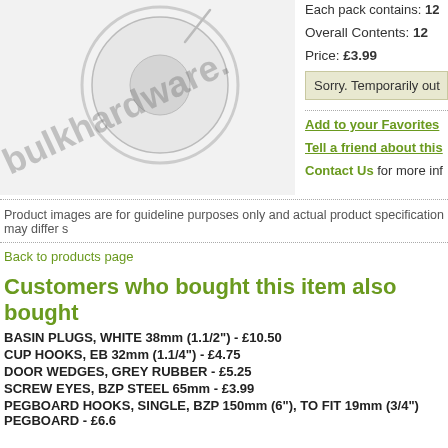[Figure (photo): Product photo of a suction cup hook on white background with bulkhardware.com watermark]
Each pack contains: 12
Overall Contents: 12
Price: £3.99
Sorry. Temporarily out
Add to your Favorites
Tell a friend about this
Contact Us for more inf
Product images are for guideline purposes only and actual product specification may differ s
Back to products page
Customers who bought this item also bought
BASIN PLUGS, WHITE 38mm (1.1/2")  - £10.50
CUP HOOKS, EB 32mm (1.1/4")  - £4.75
DOOR WEDGES, GREY RUBBER  - £5.25
SCREW EYES, BZP STEEL 65mm  - £3.99
PEGBOARD HOOKS, SINGLE, BZP 150mm (6"), TO FIT 19mm (3/4") PEGBOARD  - £6.6